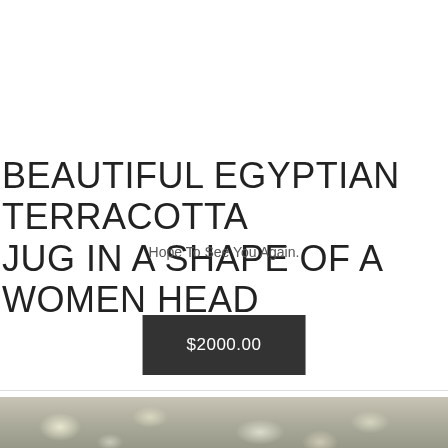BEAUTIFUL EGYPTIAN TERRACOTTA JUG IN A SHAPE OF A WOMEN HEAD
Hope To See You Again.
$2000.00
[Figure (photo): Bottom portion of a product listing page showing a blurred/partial image of what appears to be Egyptian terracotta artifacts or jewelry items on a neutral background.]